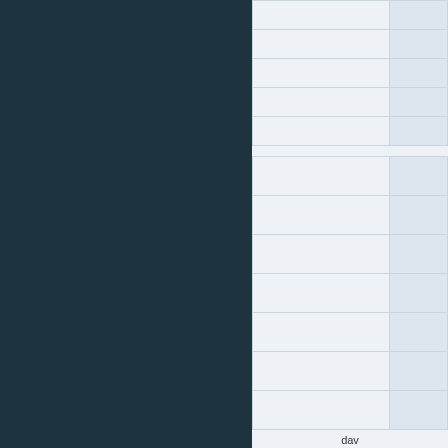[Figure (table-as-image): Grid table with two columns, top section, partially visible at top of page]
[Figure (table-as-image): Grid table with two columns, bottom section]
dav
Posted in Latest News, SMC Life | Co…
Beach Clean & Litter Pi…
June 10th, 2022
Following a break due to COVID rest… running since September 2021 and wo… as we work towards becoming a green…